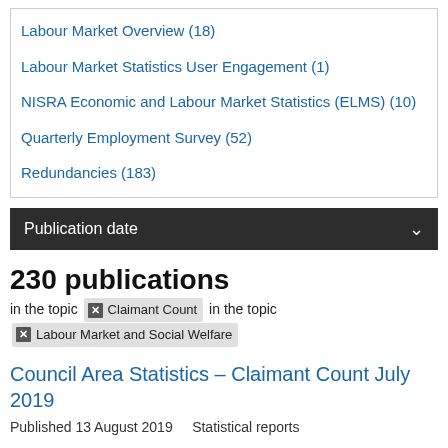Labour Market Overview (18)
Labour Market Statistics User Engagement (1)
NISRA Economic and Labour Market Statistics (ELMS) (10)
Quarterly Employment Survey (52)
Redundancies (183)
Publication date
230 publications
in the topic  Claimant Count  in the topic  Labour Market and Social Welfare
Council Area Statistics – Claimant Count July 2019
Published 13 August 2019    Statistical reports